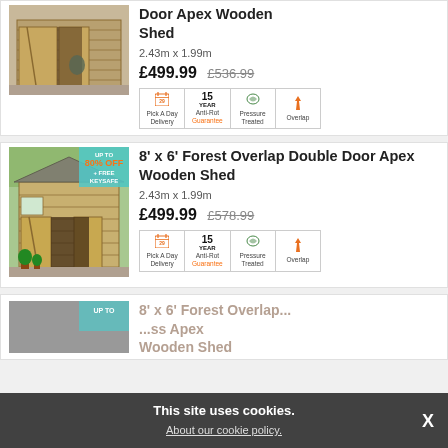[Figure (photo): Wooden shed with double doors, open showing interior, gravel path outside - first product listing (top, partial)]
Door Apex Wooden Shed
2.43m x 1.99m
£499.99  £536.99
[Figure (infographic): Feature icons: Pick A Day Delivery, 15 Year Anti-Rot Guarantee, Pressure Treated, Overlap]
[Figure (photo): 8x6 wooden apex shed with double doors open, windows, plants in front, badge saying UP TO 80% OFF + FREE KEYSAFE]
8' x 6' Forest Overlap Double Door Apex Wooden Shed
2.43m x 1.99m
£499.99  £578.99
[Figure (infographic): Feature icons: Pick A Day Delivery, 15 Year Anti-Rot Guarantee, Pressure Treated, Overlap]
[Figure (photo): Third product listing partially visible at bottom - Forest Overlap Apex Wooden Shed]
8' x 6' Forest Overlap ... Apex Wooden Shed
This site uses cookies. About our cookie policy.